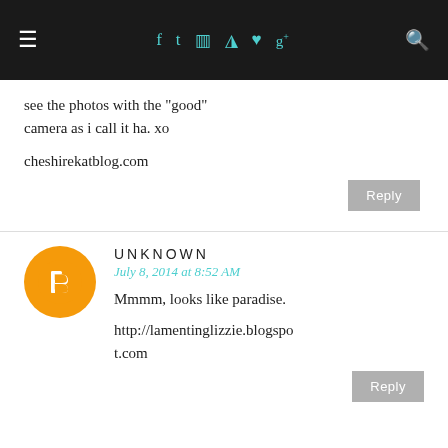≡  f  t  ☷  ⊛  ♥  g+  🔍
see the photos with the "good" camera as i call it ha. xo
cheshirekatblog.com
Reply
UNKNOWN
July 8, 2014 at 8:52 AM
Mmmm, looks like paradise.
http://lamentinglizzie.blogspot.com
Reply